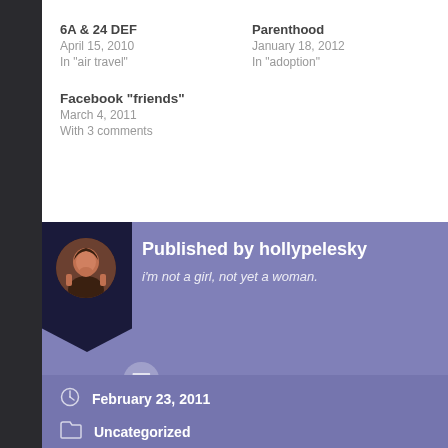6A & 24 DEF
April 15, 2010
In "air travel"
Parenthood
January 18, 2012
In "adoption"
Facebook "friends"
March 4, 2011
With 3 comments
Published by hollypelesky
i'm not a girl, not yet a woman.
View all posts by hollypelesky
February 23, 2011
Uncategorized